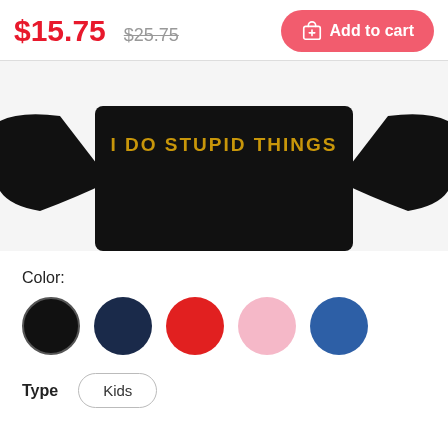$15.75  $25.75  Add to cart
[Figure (photo): Black sweatshirt with gold text 'I DO STUPID THINGS' on the front, shown from the front/lower half angle on a white background.]
Color:
Type   Kids